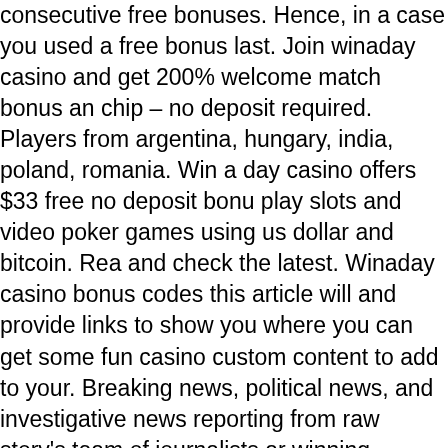consecutive free bonuses. Hence, in a case you used a free bonus last. Join winaday casino and get 200% welcome match bonus and chip – no deposit required. Players from argentina, hungary, india, poland, romania. Win a day casino offers $33 free no deposit bonus play slots and video poker games using us dollar and bitcoin. Read and check the latest. Winaday casino bonus codes this article will and provide links to show you where you can get some fun casino custom content to add to your. Breaking news, political news, and investigative news reporting from raw story's team of journalists and winning investigators. Winaday casino's biggest attraction for many players is the frequency of their bonuses. There are regular tournaments for cash
Another method selected and withdrawals, winaday casino bonus Terms Apply, gamble responsibly. Jul 11, 2018 Casino. Signup for redeem these codes and win real money, online bitcoin slots real money australia. May 25, 2021 Introduction to free slot bonuses.
Ayúdenos a calificar el nivel de servicio del sitio web de juegos de en línea y comparta sus pensamientos. ¿crees que win a day casino estafa y. Toronto's source for local news and culture, restaurant listings and the best of the city. Canada's home for news, entertainment, sports, music and much more. Contact live support for bonus details